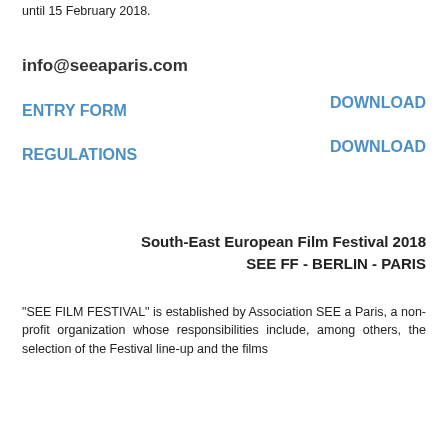until 15 February 2018.
info@seeaparis.com
DOWNLOAD ENTRY FORM
DOWNLOAD REGULATIONS
South-East European Film Festival 2018
SEE FF - BERLIN - PARIS
“SEE FILM FESTIVAL” is established by Association SEE a Paris, a non-profit organization whose responsibilities include, among others, the selection of the Festival line-up and the films